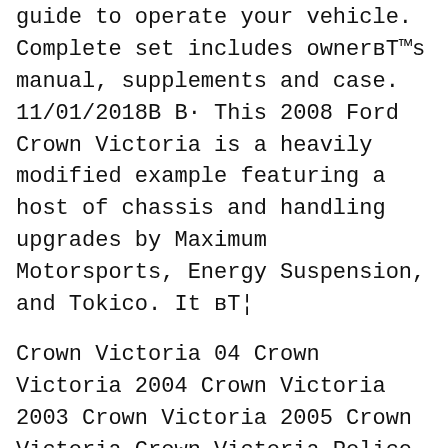guide to operate your vehicle. Complete set includes owner's manual, supplements and case. 11/01/2018В В· This 2008 Ford Crown Victoria is a heavily modified example featuring a host of chassis and handling upgrades by Maximum Motorsports, Energy Suspension, and Tokico. It вЂ¦
Crown Victoria 04 Crown Victoria 2004 Crown Victoria 2003 Crown Victoria 2005 Crown Victoria Crown Victoria Police Interceptor 1989 Crown Victoria Fuse Box Location 2010 Crown Victoria Wiring Diagram Ford Crown Victoria Service Manual Pdf Chilton Manual Ford Crown Victoria Chilton Manual 2001 Crown Victoria 2008 Ford Crown Victoria